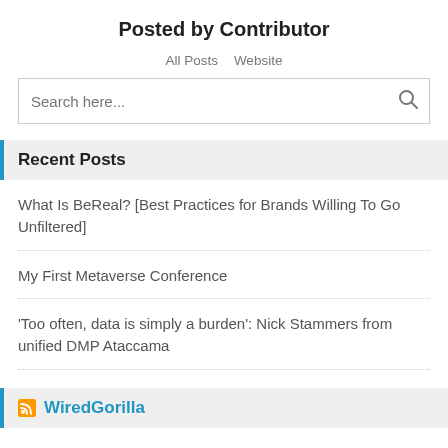Posted by Contributor
All Posts   Website
Recent Posts
What Is BeReal? [Best Practices for Brands Willing To Go Unfiltered]
My First Metaverse Conference
'Too often, data is simply a burden': Nick Stammers from unified DMP Ataccama
WiredGorilla